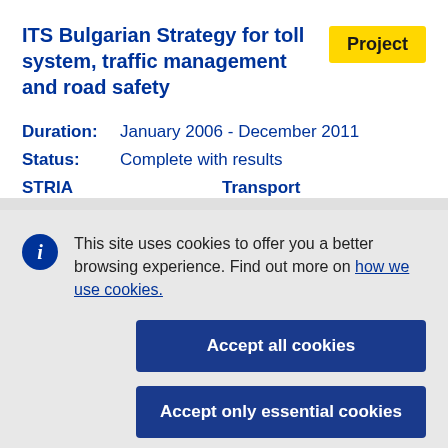ITS Bulgarian Strategy for toll system, traffic management and road safety
Project
Duration:   January 2006 - December 2011
Status:   Complete with results
STRIA   Transport
This site uses cookies to offer you a better browsing experience. Find out more on how we use cookies.
Accept all cookies
Accept only essential cookies